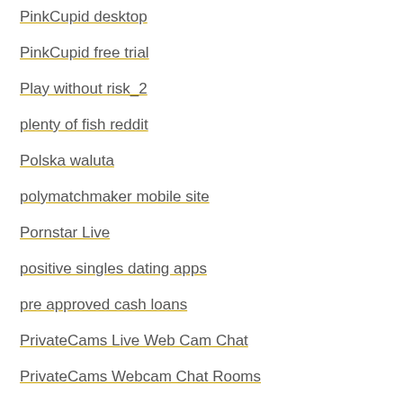PinkCupid desktop
PinkCupid free trial
Play without risk_2
plenty of fish reddit
Polska waluta
polymatchmaker mobile site
Pornstar Live
positive singles dating apps
pre approved cash loans
PrivateCams Live Web Cam Chat
PrivateCams Webcam Chat Rooms
privatelinesdating.com free-dating-online-sites
Professional Resume Writing Service